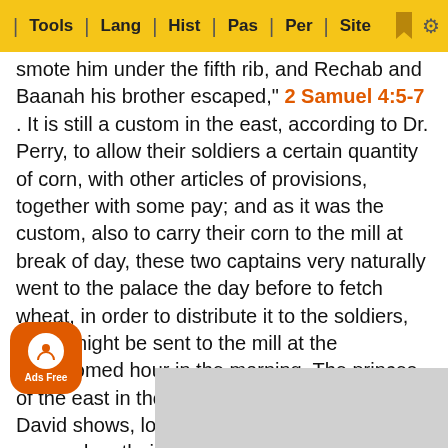Tools | Lang | Hist | Pas | Per | Site
smote him under the fifth rib, and Rechab and Baanah his brother escaped," 2 Samuel 4:5-7 . It is still a custom in the east, according to Dr. Perry, to allow their soldiers a certain quantity of corn, with other articles of provisions, together with some pay; and as it was the custom, also to carry their corn to the mill at break of day, these two captains very naturally went to the palace the day before to fetch wheat, in order to distribute it to the soldiers, that it might be sent to the mill at the accustomed hour in the morning. The princes of the east in those days, as the history of David shows, lounged in their divan, or reposed on their couch, till the cool of the evening began to advance. Rechab and Baanah, therefore, came in the heat of the day, when they knew that Ishbosheth, their master, would be resting on his bed; and as it was necessary, for the reason just given, to have the corn ready before it was needed, their coming at that time, though it might be a little earlier than usual, created no suspic…